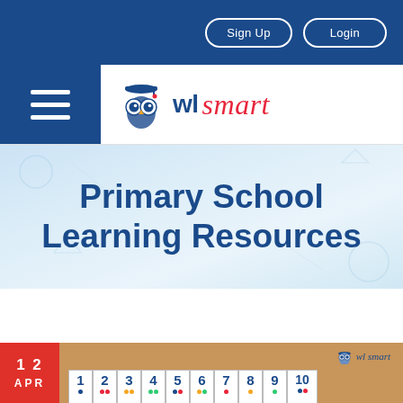Sign Up  Login
[Figure (logo): Owl Smart logo with owl icon wearing graduation cap, text 'wl smart' in blue and red italic]
Primary School Learning Resources
[Figure (photo): Article card showing date badge '12 APR' in red, cork board background with numbered cards 1-10 and colorful dots, owl smart watermark]